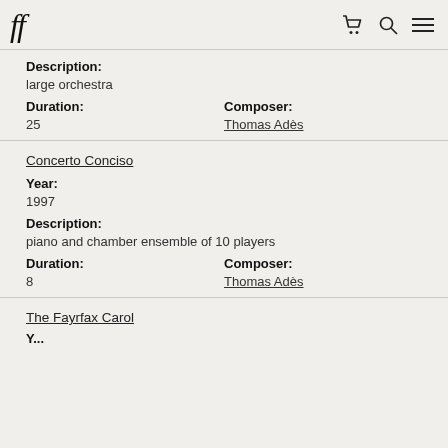ff [logo] [cart] [search] [menu]
Description:
large orchestra
Duration:
25
Composer:
Thomas Adès
Concerto Conciso
Year:
1997
Description:
piano and chamber ensemble of 10 players
Duration:
8
Composer:
Thomas Adès
The Fayrfax Carol